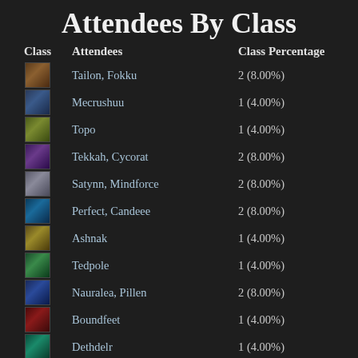Attendees By Class
| Class | Attendees | Class Percentage |
| --- | --- | --- |
| [icon] | Tailon, Fokku | 2 (8.00%) |
| [icon] | Mecrushuu | 1 (4.00%) |
| [icon] | Topo | 1 (4.00%) |
| [icon] | Tekkah, Cycorat | 2 (8.00%) |
| [icon] | Satynn, Mindforce | 2 (8.00%) |
| [icon] | Perfect, Candeee | 2 (8.00%) |
| [icon] | Ashnak | 1 (4.00%) |
| [icon] | Tedpole | 1 (4.00%) |
| [icon] | Nauralea, Pillen | 2 (8.00%) |
| [icon] | Boundfeet | 1 (4.00%) |
| [icon] | Dethdelr | 1 (4.00%) |
| [icon] | Winnetaska, Lambshanks, Xyzy | 3 (12.00%) |
| [icon] | Harhar | 1 (4.00%) |
| [icon] | Boazz | 1 (4.00%) |
| Troubador | Boloh, Rattimouse | 2 (8.00%) |
| [icon] | Dacb... | 1 (4.00%) |